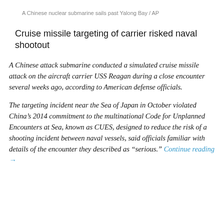A Chinese nuclear submarine sails past Yalong Bay / AP
Cruise missile targeting of carrier risked naval shootout
A Chinese attack submarine conducted a simulated cruise missile attack on the aircraft carrier USS Reagan during a close encounter several weeks ago, according to American defense officials.
The targeting incident near the Sea of Japan in October violated China’s 2014 commitment to the multinational Code for Unplanned Encounters at Sea, known as CUES, designed to reduce the risk of a shooting incident between naval vessels, said officials familiar with details of the encounter they described as “serious.” Continue reading →